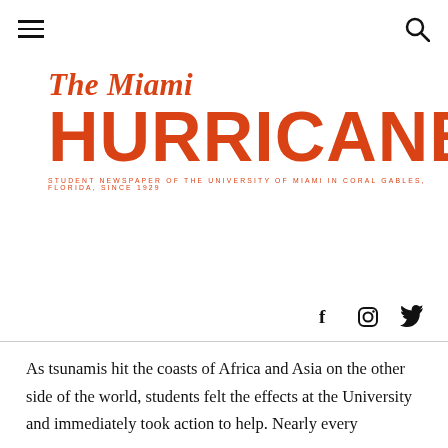≡  [hamburger menu]  [search icon]
The Miami HURRICANE
STUDENT NEWSPAPER OF THE UNIVERSITY OF MIAMI IN CORAL GABLES, FLORIDA, SINCE 1929
[Figure (infographic): Social media icons: Facebook (f), Instagram, Twitter]
As tsunamis hit the coasts of Africa and Asia on the other side of the world, students felt the effects at the University and immediately took action to help. Nearly every